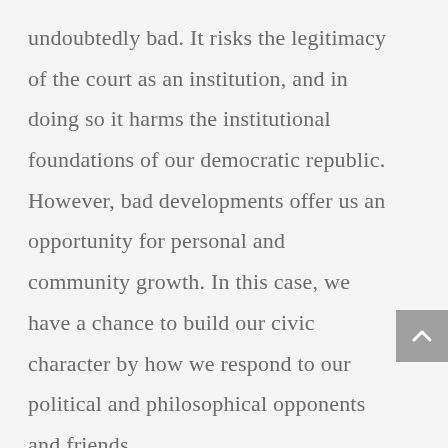undoubtedly bad. It risks the legitimacy of the court as an institution, and in doing so it harms the institutional foundations of our democratic republic. However, bad developments offer us an opportunity for personal and community growth. In this case, we have a chance to build our civic character by how we respond to our political and philosophical opponents and friends.
In that sense, bad developments are a necessary part of the process of reclaiming and restoring our civic and political health